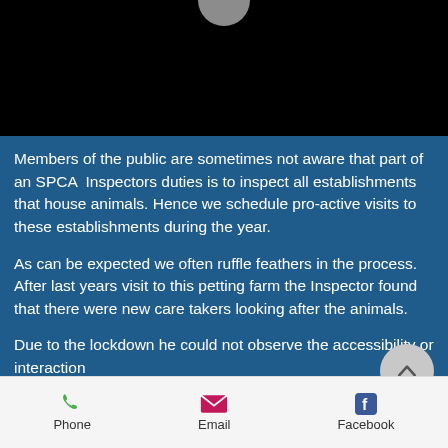[Figure (photo): Dark/black image area at top of mobile page, with a partial circular logo visible at the top center]
Members of the public are sometimes not aware that part of an SPCA Inspectors duties is to inspect all establishments that house animals. Hence we schedule pro-active visits to these establishments during the year.
As can be expected we often ruffle feathers in the process. After last years visit to this petting farm the Inspector found that there were new care takers looking after the animals.
Due to the lockdown he could not observe the accessibility or interaction...
Phone   Email   Facebook